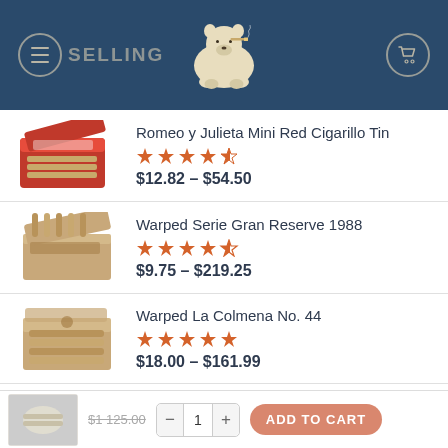BEST SELLING
Romeo y Julieta Mini Red Cigarillo Tin — Rating: 4.5 stars — $12.82 – $54.50
Warped Serie Gran Reserve 1988 — Rating: 4.5 stars — $9.75 – $219.25
Warped La Colmena No. 44 — Rating: 5 stars — $18.00 – $161.99
Warped Maestro Del Tiempo 6102R — Rating: 4 stars
$125.00 — ADD TO CART